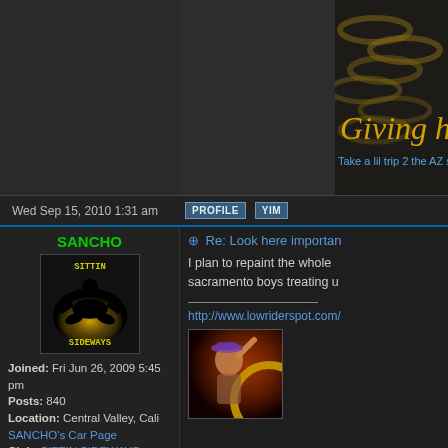[Figure (screenshot): Top banner area with dark background panels, cursive gold text reading 'Giving ha' and blue text 'Take a lil trip 2 the AZ side']
Wed Sep 15, 2010 1:31 am
[Figure (other): PROFILE button]
[Figure (other): YIM button]
SANCHO
[Figure (illustration): Avatar image: black silhouette of person sitting in meditation pose on yellow glowing background, with text SITTIN on top and SIDEWAYS on bottom]
Joined: Fri Jun 26, 2009 5:45 pm
Posts: 840
Location: Central Valley, Cali
SANCHO's Car Page
Club: SITTIN SIDEWAYS
Cash: 84899
Statistics
Re: Look here importan
I plan to repaint the whole sacramento boys treating u
http://www.lowriderspot.com/
[Figure (illustration): Woman with raised arm, wearing hat, illustration style with warm red/orange tones, partial circular yellow design element]